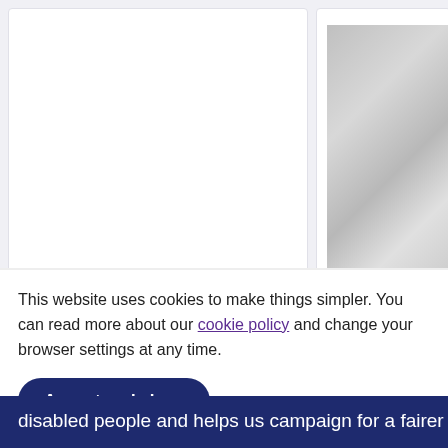[Figure (photo): Product card showing blank white image area for Drum Beats Kids Sweatshirt by Michael Hanrahan]
Drum Beats Kids Sweatshirt by Michael Hanrahan
£25.00
[Figure (photo): Partially visible product card with glittery/sparkly grey image for Drum Beats Black product by Michael Hanrahan]
Drum Beats Black... Michael Hanraha...
£20.00
This website uses cookies to make things simpler. You can read more about our cookie policy and change your browser settings at any time.
Accept and close
disabled people and helps us campaign for a fairer